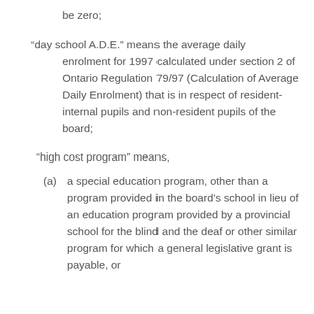be zero;
“day school A.D.E.” means the average daily enrolment for 1997 calculated under section 2 of Ontario Regulation 79/97 (Calculation of Average Daily Enrolment) that is in respect of resident-internal pupils and non-resident pupils of the board;
“high cost program” means,
(a) a special education program, other than a program provided in the board’s school in lieu of an education program provided by a provincial school for the blind and the deaf or other similar program for which a general legislative grant is payable, or